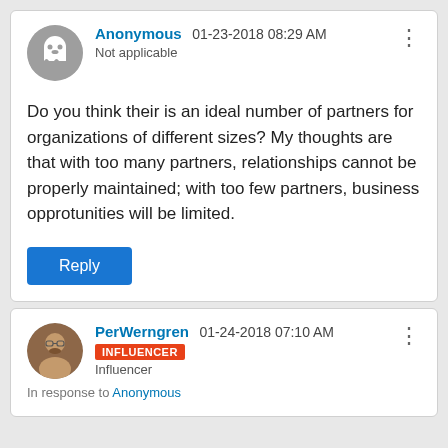Anonymous 01-23-2018 08:29 AM
Not applicable
Do you think their is an ideal number of partners for organizations of different sizes? My thoughts are that with too many partners, relationships cannot be properly maintained; with too few partners, business opprotunities will be limited.
Reply
PerWerngren 01-24-2018 07:10 AM
INFLUENCER
Influencer
In response to Anonymous